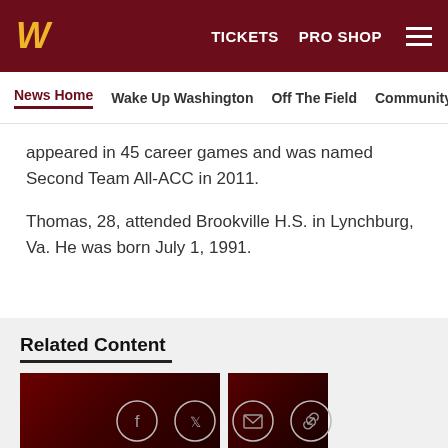W  TICKETS  PRO SHOP
News Home  Wake Up Washington  Off The Field  Community
appeared in 45 career games and was named Second Team All-ACC in 2011.
Thomas, 28, attended Brookville H.S. in Lynchburg, Va. He was born July 1, 1991.
Related Content
[Figure (photo): Washington Commanders dark red branded image, main thumbnail]
[Figure (photo): Washington Commanders dark red branded image, side thumbnail]